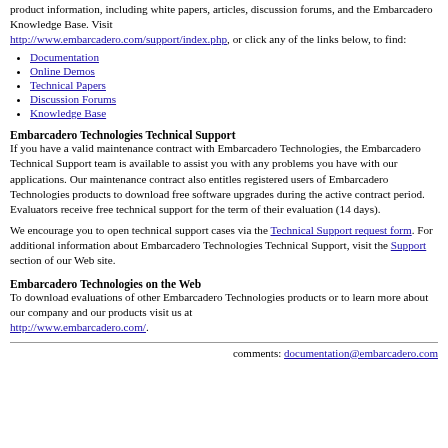product information, including white papers, articles, discussion forums, and the Embarcadero Knowledge Base. Visit http://www.embarcadero.com/support/index.php, or click any of the links below, to find:
Documentation
Online Demos
Technical Papers
Discussion Forums
Knowledge Base
Embarcadero Technologies Technical Support
If you have a valid maintenance contract with Embarcadero Technologies, the Embarcadero Technical Support team is available to assist you with any problems you have with our applications. Our maintenance contract also entitles registered users of Embarcadero Technologies products to download free software upgrades during the active contract period. Evaluators receive free technical support for the term of their evaluation (14 days).
We encourage you to open technical support cases via the Technical Support request form. For additional information about Embarcadero Technologies Technical Support, visit the Support section of our Web site.
Embarcadero Technologies on the Web
To download evaluations of other Embarcadero Technologies products or to learn more about our company and our products visit us at http://www.embarcadero.com/.
comments: documentation@embarcadero.com